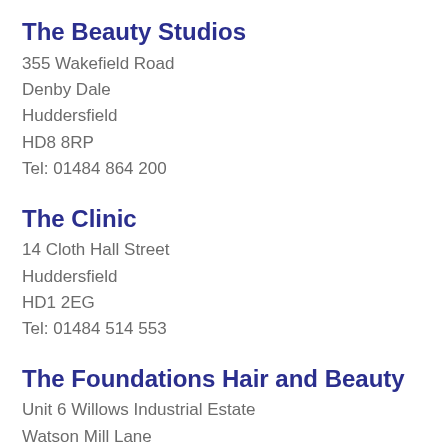The Beauty Studios
355 Wakefield Road
Denby Dale
Huddersfield
HD8 8RP
Tel: 01484 864 200
The Clinic
14 Cloth Hall Street
Huddersfield
HD1 2EG
Tel: 01484 514 553
The Foundations Hair and Beauty
Unit 6 Willows Industrial Estate
Watson Mill Lane
Sowerby Bridge
Halifax
HX6 3DE
Tel: 01422 839 091